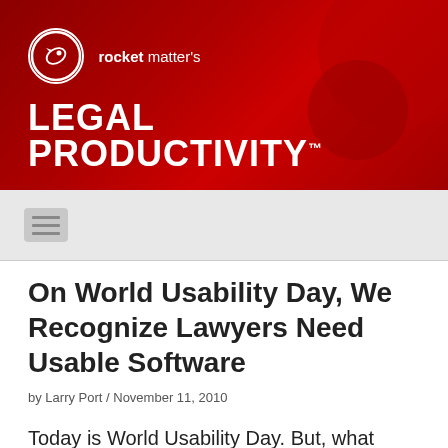[Figure (logo): Rocket Matter's Legal Productivity logo banner with dark red gradient background, rocket ship icon in circle, and large white bold text 'LEGAL PRODUCTIVITY™']
[Figure (other): Navigation bar with hamburger menu icon on grey background]
On World Usability Day, We Recognize Lawyers Need Usable Software
by Larry Port / November 11, 2010
Today is World Usability Day. But, what does Usability mean? And, how does this impact a law